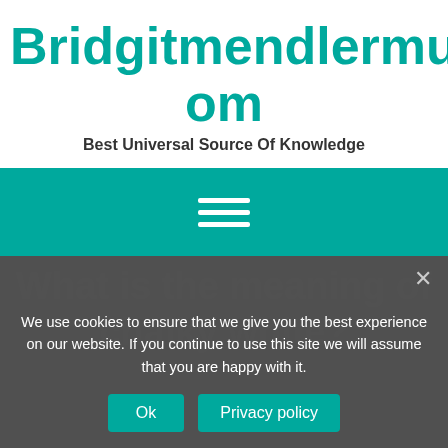Bridgitmendlermusic.Com
Best Universal Source Of Knowledge
[Figure (other): Hamburger menu icon with three white horizontal lines on teal background]
What is the meaning of chalky white?
We use cookies to ensure that we give you the best experience on our website. If you continue to use this site we will assume that you are happy with it.
Ok
Privacy policy
What is the meaning of